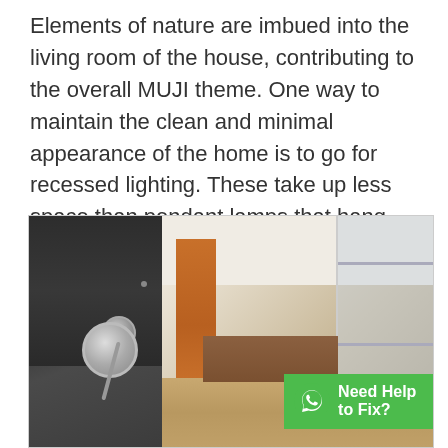Elements of nature are imbued into the living room of the house, contributing to the overall MUJI theme. One way to maintain the clean and minimal appearance of the home is to go for recessed lighting. These take up less space than pendant lamps that hang from the ceiling.
[Figure (photo): Interior bathroom photo showing two panels: left panel with dark slate wall, chrome shower fixtures and faucet handle; right panel showing a modern bathroom with white ceiling, orange wood door, glass walls/windows, wooden vanity and light wood floor. A green WhatsApp banner overlaid at the bottom reads 'Need Help to Fix?']